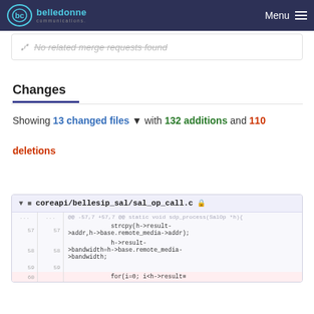belledonne communications — Menu
No related merge requests found
Changes
Showing 13 changed files with 132 additions and 110 deletions
| old line | new line | code |
| --- | --- | --- |
| ... | ... | @@ -57,7 +57,7 @@ static void sdp_process(SalOp *h){ |
| 57 | 57 | strcpy(h->result->addr,h->base.remote_media->addr); |
| 58 | 58 | h->result->bandwidth=h->base.remote_media->bandwidth; |
| 59 | 59 |  |
| 60 |  | for(i=0; i<h->result... |